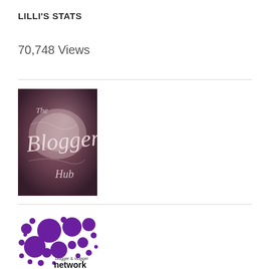LILLI'S STATS
70,748 Views
[Figure (logo): The Blogger Hub logo — ornate cursive script on a dark purplish-pink textured background]
[Figure (logo): Blogger & Vlogger Network logo — purple circles/dots pattern with text 'blogger & vlogger network']